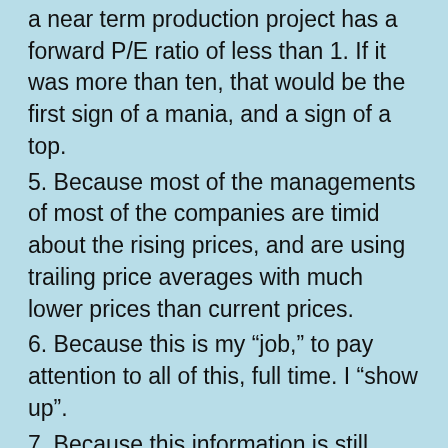a near term production project has a forward P/E ratio of less than 1.  If it was more than ten, that would be the first sign of a mania, and a sign of a top.
5.  Because most of the managements of most of the companies are timid about the rising prices, and are using trailing price averages with much lower prices than current prices.
6.  Because this is my “job,” to pay attention to all of this, full time.  I “show up”.
7.  Because this information is still rather hard to come by, and not covered by enough mainstream journalists.
8.  Because most mainstream journalists, if